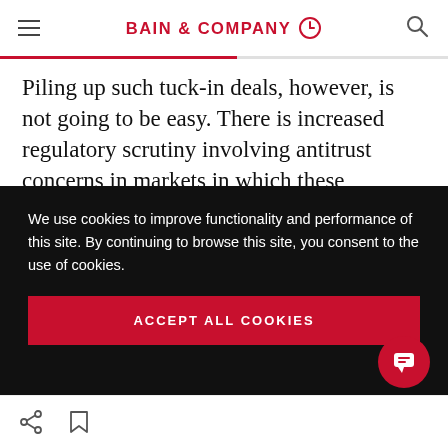BAIN & COMPANY
Piling up such tuck-in deals, however, is not going to be easy. There is increased regulatory scrutiny involving antitrust concerns in markets in which these companies hold leadership positions. For example, Visa abandoned its $5.3 billion deal for Plaid before it even had a chance
We use cookies to improve functionality and performance of this site. By continuing to browse this site, you consent to the use of cookies.
ACCEPT ALL COOKIES